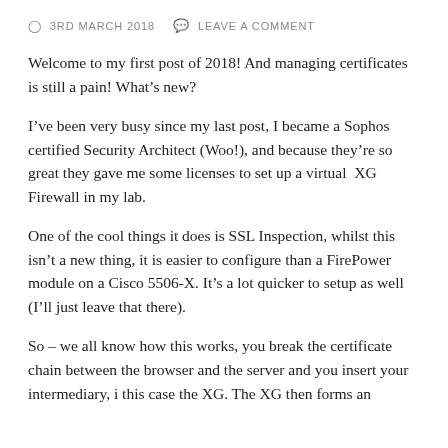3RD MARCH 2018   LEAVE A COMMENT
Welcome to my first post of 2018! And managing certificates is still a pain! What’s new?
I’ve been very busy since my last post, I became a Sophos certified Security Architect (Woo!), and because they’re so great they gave me some licenses to set up a virtual XG Firewall in my lab.
One of the cool things it does is SSL Inspection, whilst this isn’t a new thing, it is easier to configure than a FirePower module on a Cisco 5506-X. It’s a lot quicker to setup as well (I’ll just leave that there).
So – we all know how this works, you break the certificate chain between the browser and the server and you insert your intermediary, i this case the XG. The XG then forms an